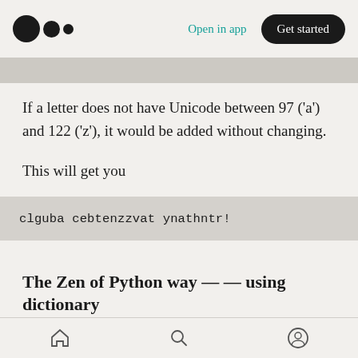Open in app | Get started
If a letter does not have Unicode between 97 ('a') and 122 ('z'), it would be added without changing.
This will get you
clguba cebtenzzvat ynathntr!
The Zen of Python way — — using dictionary